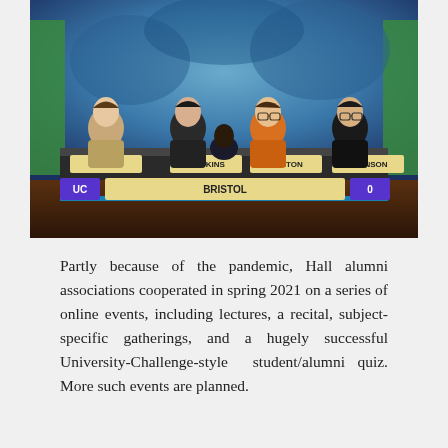[Figure (photo): Four students seated at a quiz desk on a University Challenge-style TV set. Name placards read: ALLEN, HAWKINS, DENTON, JOYNSON. The scoreboard shows 'UC', 'BRISTOL', and '0'.]
Partly because of the pandemic, Hall alumni associations cooperated in spring 2021 on a series of online events, including lectures, a recital, subject-specific gatherings, and a hugely successful University-Challenge-style student/alumni quiz. More such events are planned.
WHA/JCR